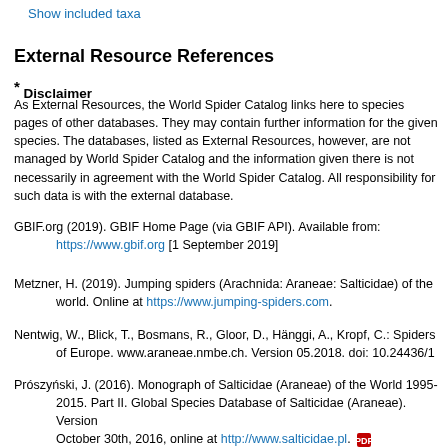Show included taxa
External Resource References
* Disclaimer
As External Resources, the World Spider Catalog links here to species pages of other databases. They may contain further information for the given species. The databases, listed as External Resources, however, are not managed by World Spider Catalog and the information given there is not necessarily in agreement with the World Spider Catalog. All responsibility for such data is with the external database.
GBIF.org (2019). GBIF Home Page (via GBIF API). Available from: https://www.gbif.org [1 September 2019]
Metzner, H. (2019). Jumping spiders (Arachnida: Araneae: Salticidae) of the world. Online at https://www.jumping-spiders.com.
Nentwig, W., Blick, T., Bosmans, R., Gloor, D., Hänggi, A., Kropf, C.: Spiders of Europe. www.araneae.nmbe.ch. Version 05.2018. doi: 10.24436/1
Prószyński, J. (2016). Monograph of Salticidae (Araneae) of the World 1995-2015. Part II. Global Species Database of Salticidae (Araneae). Version October 30th, 2016, online at http://www.salticidae.pl.